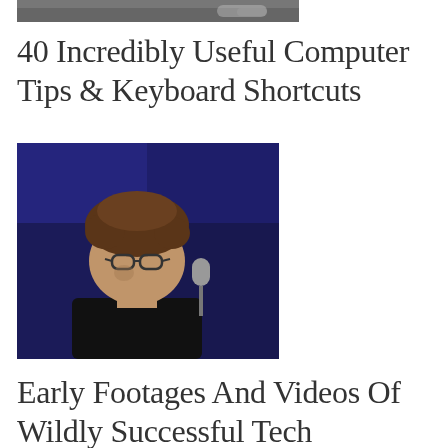[Figure (photo): Partial top image of a desk/computer setup, cropped at top of page]
40 Incredibly Useful Computer Tips & Keyboard Shortcuts
[Figure (photo): Photo of a person with glasses and tousled hair speaking at a microphone against a blue background, appears to be a tech founder or speaker]
Early Footages And Videos Of Wildly Successful Tech Founders